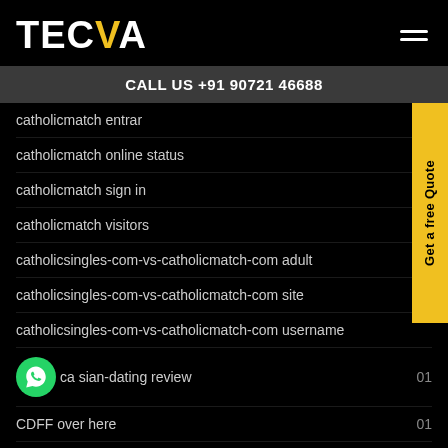TECVA
CALL US +91 90721 46688
catholicmatch entrar  01
catholicmatch online status  01
catholicmatch sign in  01
catholicmatch visitors
catholicsingles-com-vs-catholicmatch-com adult
catholicsingles-com-vs-catholicmatch-com site
catholicsingles-com-vs-catholicmatch-com username
ca sian-dating review  01
CDFF over here  01
cedar-rapids escort  01